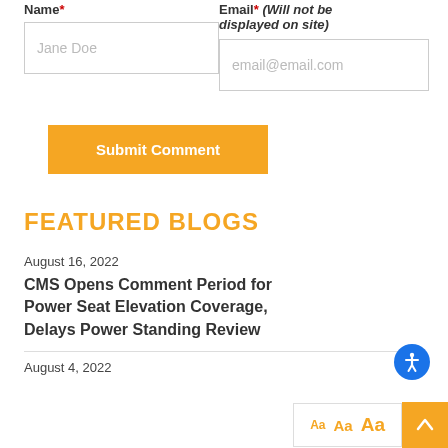Name* (label)
Email* (Will not be displayed on site)
Submit Comment
FEATURED BLOGS
August 16, 2022
CMS Opens Comment Period for Power Seat Elevation Coverage, Delays Power Standing Review
August 4, 2022